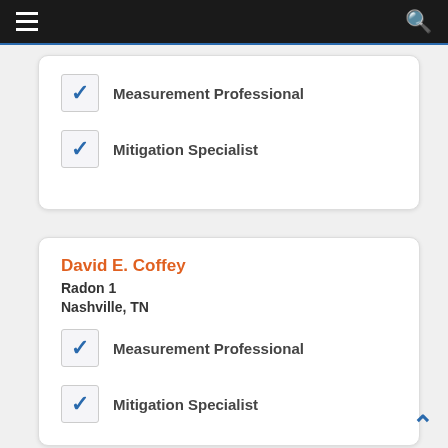Navigation bar with hamburger menu and search icon
Measurement Professional (checked)
Mitigation Specialist (checked)
David E. Coffey
Radon 1
Nashville, TN
Measurement Professional (checked)
Mitigation Specialist (checked)
[Figure (logo): MFM circular green and gold badge/seal logo]